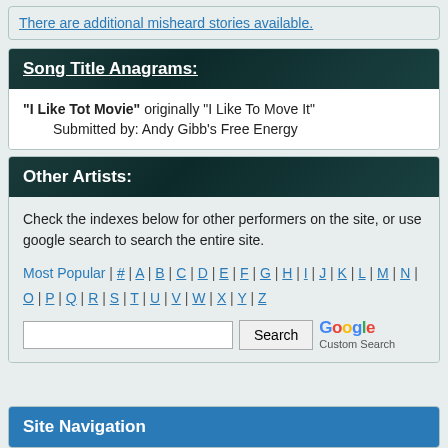There are additional misheard stories available.
Song Title Anagrams:
"I Like Tot Movie" originally "I Like To Move It"
    Submitted by: Andy Gibb's Free Energy
Other Artists:
Check the indexes below for other performers on the site, or use google search to search the entire site.
Most Popular | # | A | B | C | D | E | F | G | H | I | J | K | L | M | N | O | P | Q | R | S | T | U | V | W | X | Y | Z
[Figure (other): Google Custom Search input box with Search button]
Site Navigation